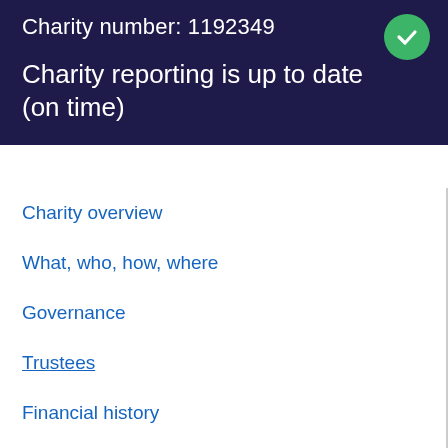Charity number: 1192349
Charity reporting is up to date (on time)
Charity overview
What, who, how, where
Governance
Trustees
Financial history
Accounts and annual returns
Governing document